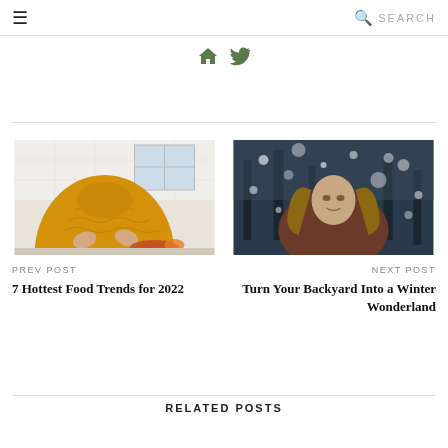☰  🔍 SEARCH
[Figure (other): Social icons: home icon and Twitter bird icon in olive/green color]
[Figure (photo): Person in yellow knit sweater in kitchen preparing food]
PREV POST
7 Hottest Food Trends for 2022
[Figure (photo): Person looking up in snowy outdoor scene with bokeh snowflakes]
NEXT POST
Turn Your Backyard Into a Winter Wonderland
RELATED POSTS